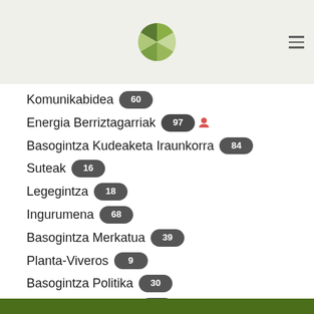[Figure (logo): Green leaf/pinwheel logo icon in header]
Komunikabidea 60
Energia Berriztagarriak 97
Basogintza Kudeaketa Iraunkorra 84
Suteak 16
Legegintza 18
Ingurumena 68
Basogintza Merkatua 39
Planta-Viveros 9
Basogintza Politika 30
Zuraren Sustapena 85
Basogintza Ustiapena 17